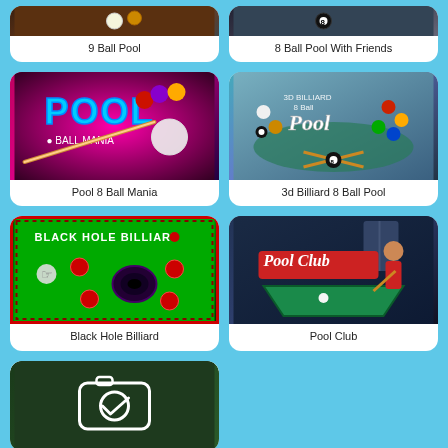[Figure (screenshot): 9 Ball Pool game thumbnail - pool table top view]
9 Ball Pool
[Figure (screenshot): 8 Ball Pool With Friends game thumbnail - pool table]
8 Ball Pool With Friends
[Figure (screenshot): Pool 8 Ball Mania game thumbnail - pink/magenta background with pool text and cue ball]
Pool 8 Ball Mania
[Figure (screenshot): 3d Billiard 8 Ball Pool game thumbnail - blue-green pool table overhead]
3d Billiard 8 Ball Pool
[Figure (screenshot): Black Hole Billiard game thumbnail - green table with red balls and black hole]
Black Hole Billiard
[Figure (screenshot): Pool Club game thumbnail - cartoon pool club scene with player]
Pool Club
[Figure (screenshot): Partial game thumbnail with checkmark/camera icon on dark green background]